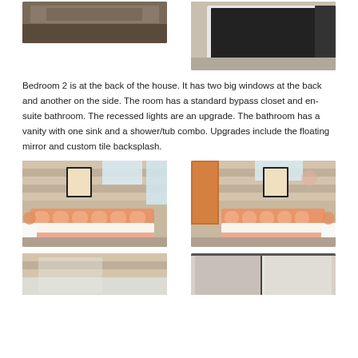[Figure (photo): Top-left photo partially visible – dark headboard or furniture against wall]
[Figure (photo): Top-right photo – washer or appliance, white with dark door, carpet floor]
Bedroom 2 is at the back of the house. It has two big windows at the back and another on the side. The room has a standard bypass closet and en-suite bathroom. The recessed lights are an upgrade. The bathroom has a vanity with one sink and a shower/tub combo. Upgrades include the floating mirror and custom tile backsplash.
[Figure (photo): Bedroom photo – orange/coral accented bed with decorative headboard, framed art on striped wall, two windows with curtains]
[Figure (photo): Bedroom photo from different angle – same coral bed and headboard, open door to en-suite bathroom visible, framed art on striped wall]
[Figure (photo): Bottom-left photo partially visible – appears to show bed/room detail]
[Figure (photo): Bottom-right photo partially visible – appears to show mirror or closet detail]